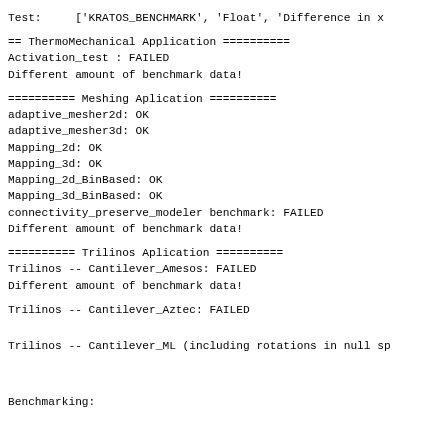Test:     ['KRATOS_BENCHMARK', 'Float', 'Difference in x
== ThermoMechanical Application ==========
Activation_test : FAILED
Different amount of benchmark data!
========== Meshing Aplication ==========
adaptive_mesher2d: OK
adaptive_mesher3d: OK
Mapping_2d: OK
Mapping_3d: OK
Mapping_2d_BinBased: OK
Mapping_3d_BinBased: OK
connectivity_preserve_modeler benchmark: FAILED
Different amount of benchmark data!
========== Trilinos Aplication ==========
Trilinos -- Cantilever_Amesos: FAILED
Different amount of benchmark data!
Trilinos -- Cantilever_Aztec: FAILED
Trilinos -- Cantilever_ML (including rotations in null sp
Benchmarking: